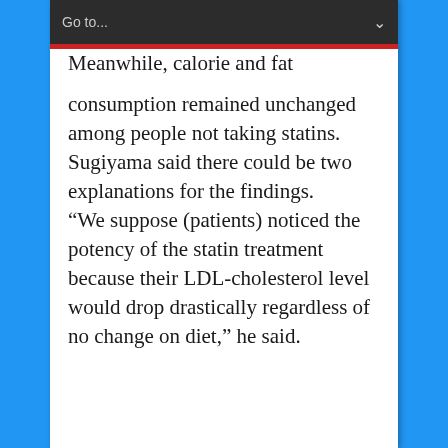Go to...
Meanwhile, calorie and fat consumption remained unchanged among people not taking statins.
Sugiyama said there could be two explanations for the findings.
“We suppose (patients) noticed the potency of the statin treatment because their LDL-cholesterol level would drop drastically regardless of no change on diet,” he said.
“The...